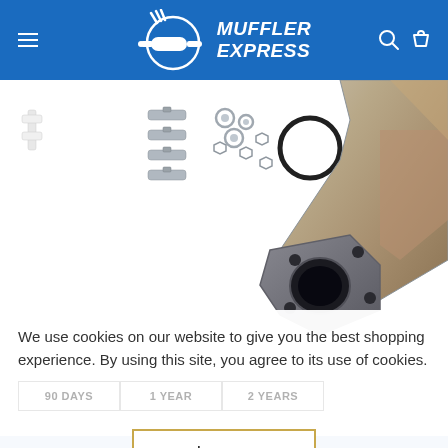[Figure (logo): Muffler Express header with logo showing a muffler inside a circular graphic, white text on blue background, hamburger menu on left, search and cart icons on right]
[Figure (photo): Automotive exhaust/catalytic converter product photo showing pipe flanges, bolts, washers, nuts, o-ring gasket, and a metallic exhaust pipe component on white background]
We use cookies on our website to give you the best shopping experience. By using this site, you agree to its use of cookies.
[Figure (screenshot): Warranty option selector with three boxes: 90 DAYS, 1 YEAR, 2 YEARS (partially visible behind cookie overlay)]
I agree